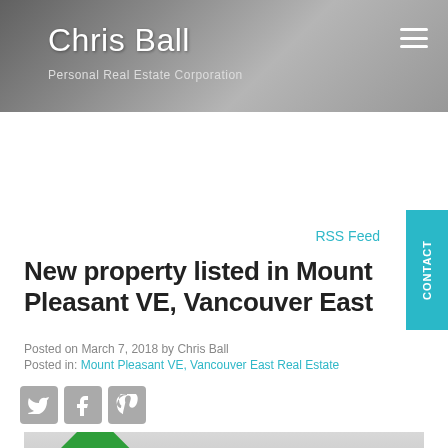Chris Ball
Personal Real Estate Corporation
RSS Feed
New property listed in Mount Pleasant VE, Vancouver East
Posted on March 7, 2018 by Chris Ball
Posted in: Mount Pleasant VE, Vancouver East Real Estate
[Figure (photo): Social media share icons: Twitter, Facebook, Pinterest]
[Figure (photo): Interior property photo with NEW LISTING banner overlay]